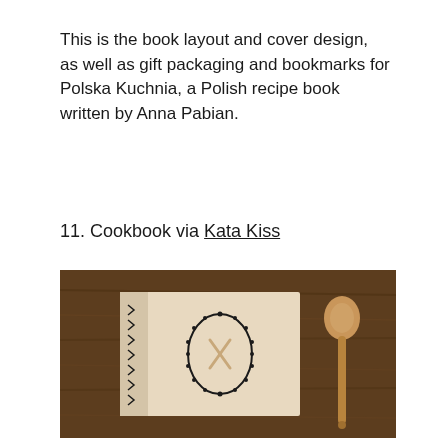This is the book layout and cover design, as well as gift packaging and bookmarks for Polska Kuchnia, a Polish recipe book written by Anna Pabian.
11. Cookbook via Kata Kiss
[Figure (photo): A photograph of a handmade cookbook with a cream/beige cover featuring a decorative oval lace-like emblem with crossed utensils, bound with visible stitching on the left spine with arrow-shaped binding details, placed on a dark wooden surface next to a wooden spoon.]